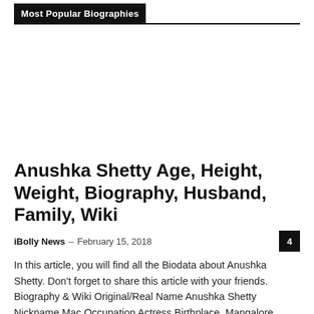Most Popular Biographies
[Figure (other): Advertisement or blank white space area below the header navigation]
Anushka Shetty Age, Height, Weight, Biography, Husband, Family, Wiki
iBolly News – February 15, 2018  4
In this article, you will find all the Biodata about Anushka Shetty. Don't forget to share this article with your friends. Biography & Wiki Original/Real Name Anushka Shetty Nickname Mac Occupation Actress Birthplace  Mangalore,...